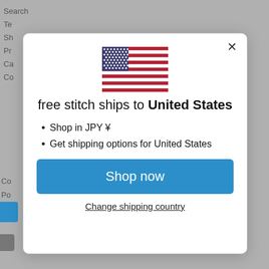[Figure (screenshot): Website background with navigation links (Search, Te-, Sh-, Pr-, Ca-, Co-, Co-, Po-) on a grey background]
[Figure (illustration): United States flag emoji/icon centered in the modal dialog]
free stitch ships to United States
Shop in JPY ¥
Get shipping options for United States
Shop now
Change shipping country